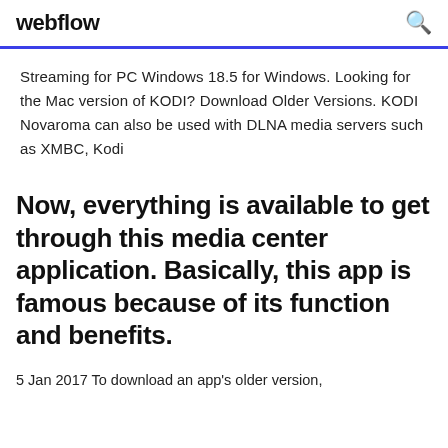webflow
Streaming for PC Windows 18.5 for Windows. Looking for the Mac version of KODI? Download Older Versions. KODI Novaroma can also be used with DLNA media servers such as XMBC, Kodi
Now, everything is available to get through this media center application. Basically, this app is famous because of its function and benefits.
5 Jan 2017 To download an app's older version,